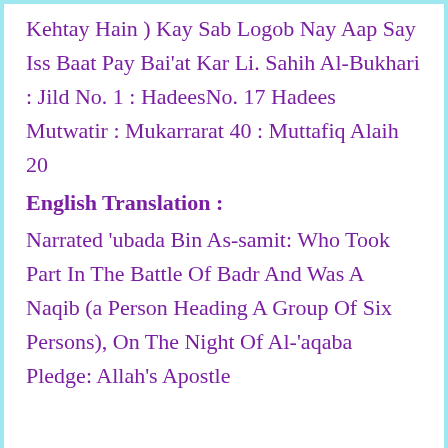Kehtay Hain ) Kay Sab Logob Nay Aap Say Iss Baat Pay Bai'at Kar Li. Sahih Al-Bukhari : Jild No. 1 : HadeesNo. 17 Hadees Mutwatir : Mukarrarat 40 : Muttafiq Alaih 20
English Translation :
Narrated 'ubada Bin As-samit: Who Took Part In The Battle Of Badr And Was A Naqib (a Person Heading A Group Of Six Persons), On The Night Of Al-'aqaba Pledge: Allah's Apostle